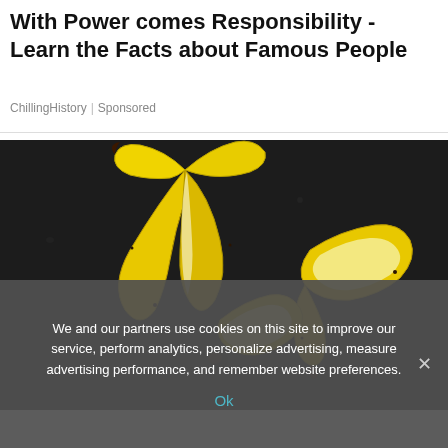With Power comes Responsibility - Learn the Facts about Famous People
ChillingHistory | Sponsored
[Figure (photo): Several peeled banana peels arranged on a dark black surface, photographed from above.]
We and our partners use cookies on this site to improve our service, perform analytics, personalize advertising, measure advertising performance, and remember website preferences.
Ok